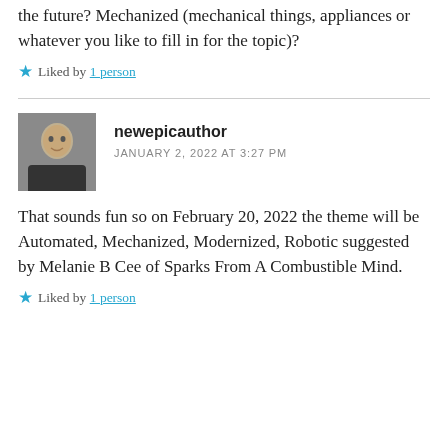the future? Mechanized (mechanical things, appliances or whatever you like to fill in for the topic)?
★ Liked by 1 person
newepicauthor
JANUARY 2, 2022 AT 3:27 PM
That sounds fun so on February 20, 2022 the theme will be Automated, Mechanized, Modernized, Robotic suggested by Melanie B Cee of Sparks From A Combustible Mind.
★ Liked by 1 person